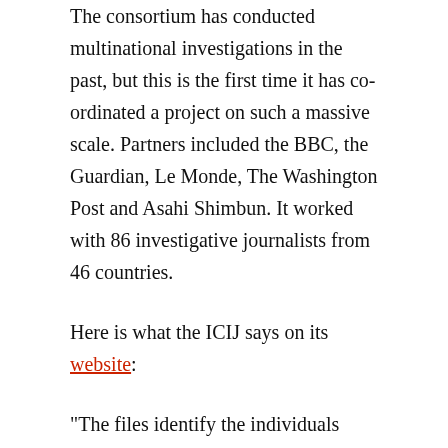The consortium has conducted multinational investigations in the past, but this is the first time it has co-ordinated a project on such a massive scale. Partners included the BBC, the Guardian, Le Monde, The Washington Post and Asahi Shimbun. It worked with 86 investigative journalists from 46 countries.
Here is what the ICIJ says on its website:
"The files identify the individuals behind the covert companies and private trusts based in the British Virgin Islands, the Cook Islands, Singapore and other offshore havens. They include American doctors and dentists and middle-class Greek villagers as well as Russia corporate executives, Eastern European and Indonesian billionaires, Wall Street fraudsters, international arms